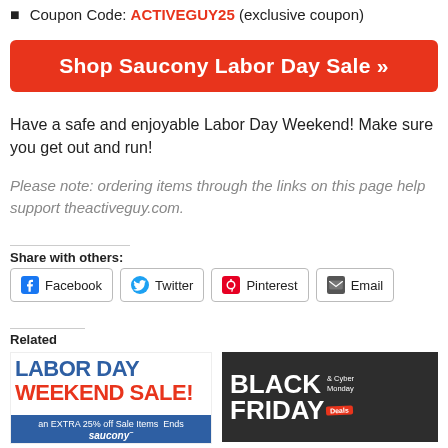Coupon Code: ACTIVEGUY25 (exclusive coupon)
[Figure (other): Red button: Shop Saucony Labor Day Sale »]
Have a safe and enjoyable Labor Day Weekend! Make sure you get out and run!
Please note: ordering items through the links on this page help support theactiveguy.com.
Share with others:
[Figure (other): Social share buttons: Facebook, Twitter, Pinterest, Email]
Related
[Figure (other): Labor Day Weekend Sale image - blue and red text with Saucony logo]
[Figure (other): Black Friday & Cyber Monday Deals image on dark background]